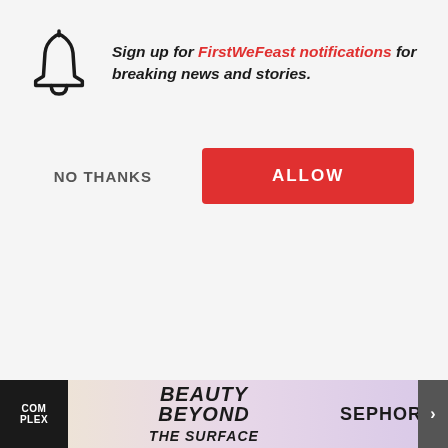Sign up for FirstWeFeast notifications for breaking news and stories.
NO THANKS
ALLOW
For us, it's like, we with. Now as cook kitchen and have s Because that's wh what we're going t to go into the lab a the best fucking chicken nugget ever, and this is how m ere's
[Figure (screenshot): Advertisement banner: Complex logo, Beauty Beyond the Surface, Sephora]